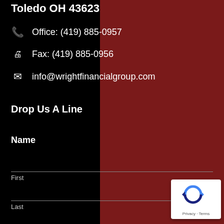Toledo OH 43623
Office: (419) 885-0957
Fax: (419) 885-0956
info@wrightfinancialgroup.com
Drop Us A Line
Name
First
Last
[Figure (logo): reCAPTCHA badge with circular arrow icon and Privacy - Terms text]